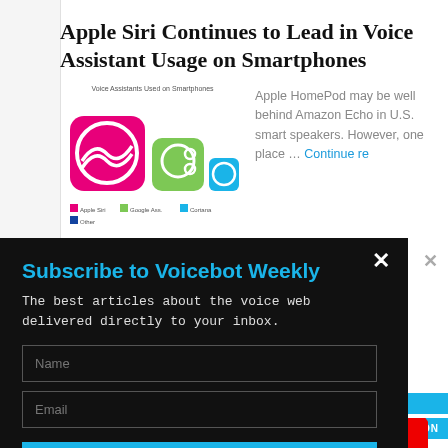Apple Siri Continues to Lead in Voice Assistant Usage on Smartphones
[Figure (infographic): Bar chart infographic showing Voice Assistants Used on Smartphones with colorful icons for Siri (pink), Google Assistant (green), Cortana (blue), and others]
Apple HomePod may be well behind Amazon Echo in U.S. smart speakers. However, one place … Continue reading
Subscribe to Voicebot Weekly
The best articles about the voice web delivered directly to your inbox.
Name
Email
SUBSCRIBE